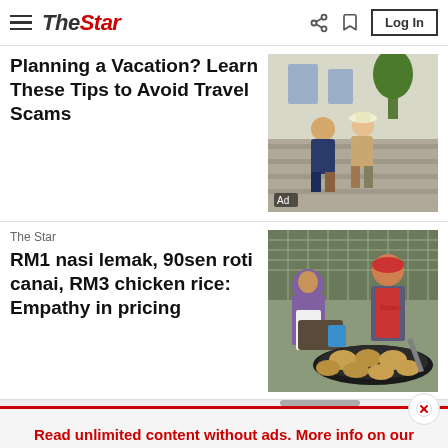The Star
Planning a Vacation? Learn These Tips to Avoid Travel Scams
[Figure (photo): Two elderly people sitting on stone steps with trees/building in background. Ad badge visible.]
The Star
RM1 nasi lemak, 90sen roti canai, RM3 chicken rice: Empathy in pricing
[Figure (photo): Food stall scene: woman in purple hijab and man in red apron cooking roti canai on a large griddle outdoors.]
Read unlimited content without ads.  More info on our Premium Plan.  >
Home  For You  Bookmark  Audio  Search